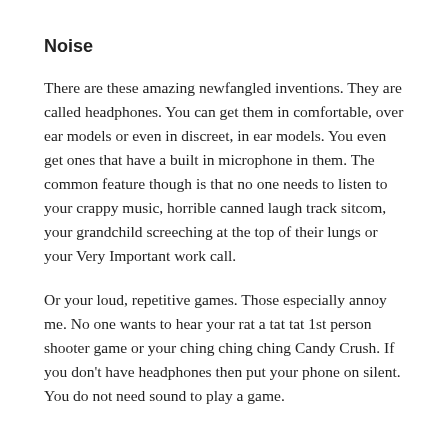Noise
There are these amazing newfangled inventions. They are called headphones. You can get them in comfortable, over ear models or even in discreet, in ear models. You even get ones that have a built in microphone in them. The common feature though is that no one needs to listen to your crappy music, horrible canned laugh track sitcom, your grandchild screeching at the top of their lungs or your Very Important work call.
Or your loud, repetitive games. Those especially annoy me. No one wants to hear your rat a tat tat 1st person shooter game or your ching ching ching Candy Crush. If you don't have headphones then put your phone on silent. You do not need sound to play a game.